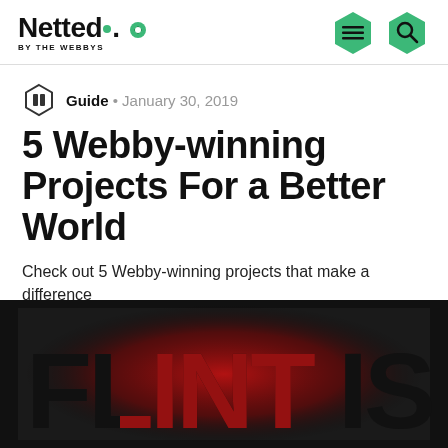Netted. BY THE WEBBYS
Guide • January 30, 2019
5 Webby-winning Projects For a Better World
Check out 5 Webby-winning projects that make a difference
[Figure (photo): Large text image reading 'FLINT IS' in bold black and red letters with a dark background]